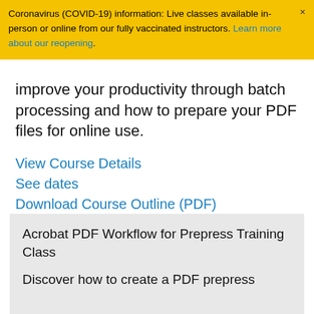Coronavirus (COVID-19) information: Live classes available in-person or online from our fully vaccinated instructors. Learn more about our reopening.
improve your productivity through batch processing and how to prepare your PDF files for online use.
View Course Details
See dates
Download Course Outline (PDF)
Acrobat PDF Workflow for Prepress Training Class
Discover how to create a PDF prepress workflow in this Acrobat PDF Workflow for